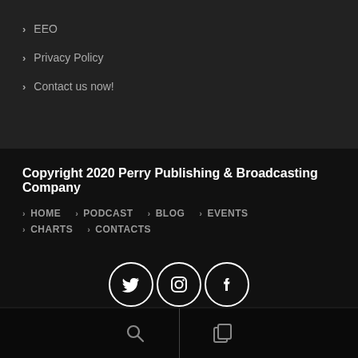EEO
Privacy Policy
Contact us now!
Copyright 2020 Perry Publishing & Broadcasting Company
HOME
PODCAST
BLOG
EVENTS
CHARTS
CONTACTS
[Figure (illustration): Three social media icons in white circles on dark background: Twitter bird, Instagram camera, Facebook f]
Search icon and copy/window icon at bottom bar with divider